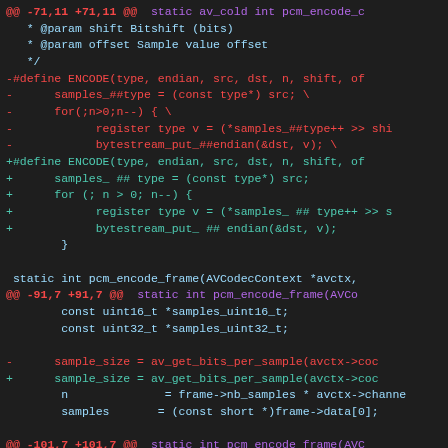Code diff showing changes to pcm_encode functions in a C source file
[Figure (screenshot): Git diff output showing changes to ENCODE macro and pcm_encode_frame function, with removed lines in red and added lines in teal/green on dark background]